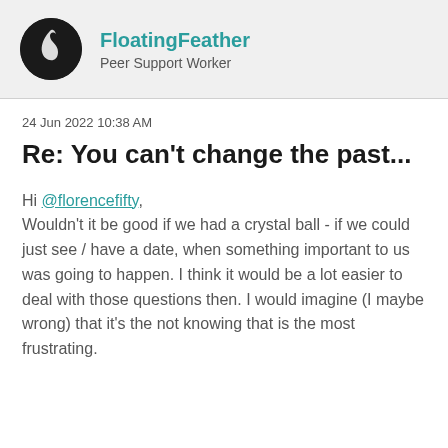FloatingFeather — Peer Support Worker
24 Jun 2022 10:38 AM
Re: You can't change the past...
Hi @florencefifty,
Wouldn't it be good if we had a crystal ball - if we could just see / have a date, when something important to us was going to happen. I think it would be a lot easier to deal with those questions then. I would imagine (I maybe wrong) that it's the not knowing that is the most frustrating.